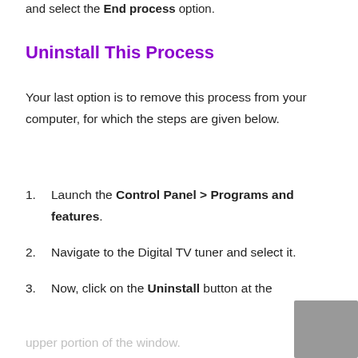and select the End process option.
Uninstall This Process
Your last option is to remove this process from your computer, for which the steps are given below.
Launch the Control Panel > Programs and features.
Navigate to the Digital TV tuner and select it.
Now, click on the Uninstall button at the upper portion of the window.